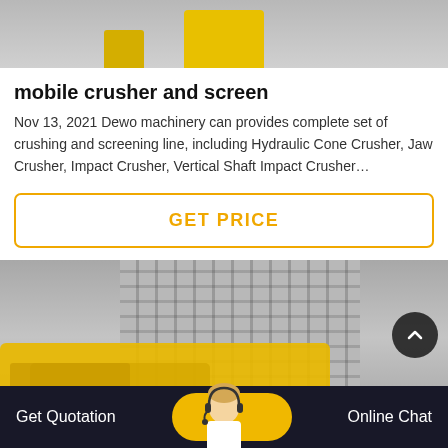[Figure (photo): Top portion of an image showing yellow machinery/equipment on a grey concrete floor, partially cropped at top of page]
mobile crusher and screen
Nov 13, 2021 Dewo machinery can provides complete set of crushing and screening line, including Hydraulic Cone Crusher, Jaw Crusher, Impact Crusher, Vertical Shaft Impact Crusher…
GET PRICE
[Figure (photo): Photo of yellow heavy mining/crushing machinery (mobile crusher) in front of a multi-storey building under construction, with a scroll-to-top button overlay in the bottom right]
Get Quotation    Online Chat